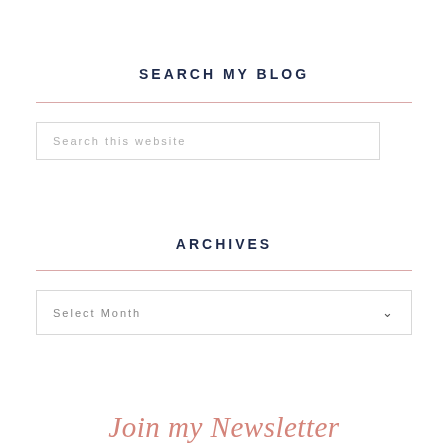SEARCH MY BLOG
Search this website
ARCHIVES
Select Month
Join my Newsletter